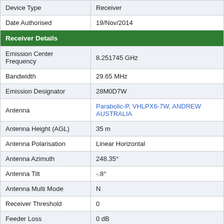| Field | Value |
| --- | --- |
| Device Type | Receiver |
| Date Authorised | 19/Nov/2014 |
| Receiver Details |  |
| Emission Center Frequency | 8.251745 GHz |
| Bandwidth | 29.65 MHz |
| Emission Designator | 28M0D7W |
| Antenna | Parabolic-P, VHLPX6-7W, ANDREW AUSTRALIA |
| Antenna Height (AGL) | 35 m |
| Antenna Polarisation | Linear Horizontal |
| Antenna Azimuth | 248.35° |
| Antenna Tilt | -.8° |
| Antenna Multi Mode | N |
| Receiver Threshold | 0 |
| Feeder Loss | 0 dB |
| Device Details |  |
| Mode | Duplex |